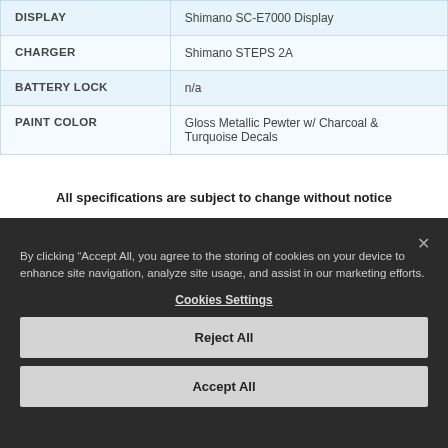|  |  |
| --- | --- |
| DISPLAY | Shimano SC-E7000 Display |
| CHARGER | Shimano STEPS 2A |
| BATTERY LOCK | n/a |
| PAINT COLOR | Gloss Metallic Pewter w/ Charcoal & Turquoise Decals |
All specifications are subject to change without notice
By clicking "Accept All, you agree to the storing of cookies on your device to enhance site navigation, analyze site usage, and assist in our marketing efforts.
Cookies Settings
Reject All
Accept All